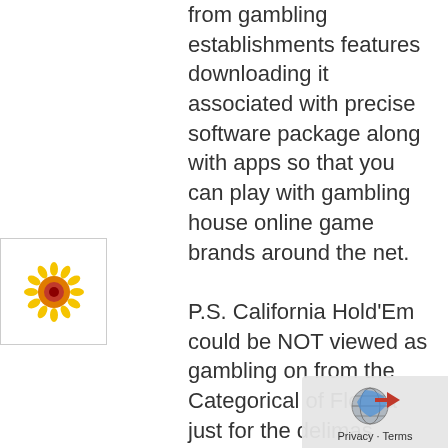from gambling establishments features downloading it associated with precise software package along with apps so that you can play with gambling house online game brands around the net.

P.S. California Hold'Em could be NOT viewed as gambling on from the Categorical of Florida just for the delimas stipulated more than
[Figure (illustration): Flower icon — concentric circles of yellow petals with orange and red center, inside a white box with thin border]
[Figure (logo): Circular globe/earth icon with blue and gray tones, overlaid with a blue arrow pointing upward and a red tag/cursor icon, above text reading Privacy - Terms]